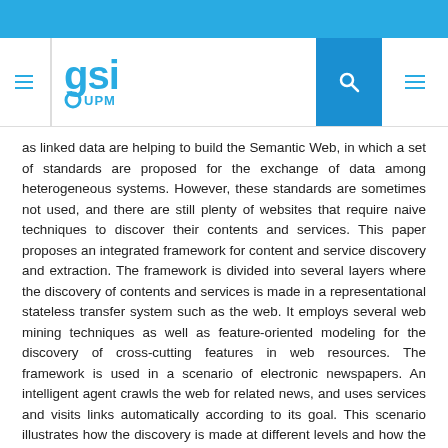GSI UPM logo header with search icon
as linked data are helping to build the Semantic Web, in which a set of standards are proposed for the exchange of data among heterogeneous systems. However, these standards are sometimes not used, and there are still plenty of websites that require naive techniques to discover their contents and services. This paper proposes an integrated framework for content and service discovery and extraction. The framework is divided into several layers where the discovery of contents and services is made in a representational stateless transfer system such as the web. It employs several web mining techniques as well as feature-oriented modeling for the discovery of cross-cutting features in web resources. The framework is used in a scenario of electronic newspapers. An intelligent agent crawls the web for related news, and uses services and visits links automatically according to its goal. This scenario illustrates how the discovery is made at different levels and how the use of semantics helps implement an agent that performs high-level tasks.